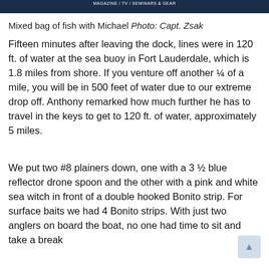MAGAZINE / TV / SEMINARS & GEAR
Mixed bag of fish with Michael Photo: Capt. Zsak
Fifteen minutes after leaving the dock, lines were in 120 ft. of water at the sea buoy in Fort Lauderdale, which is 1.8 miles from shore. If you venture off another ¼ of a mile, you will be in 500 feet of water due to our extreme drop off. Anthony remarked how much further he has to travel in the keys to get to 120 ft. of water, approximately 5 miles.
We put two #8 plainers down, one with a 3 ½ blue reflector drone spoon and the other with a pink and white sea witch in front of a double hooked Bonito strip. For surface baits we had 4 Bonito strips. With just two anglers on board the boat, no one had time to sit and take a break